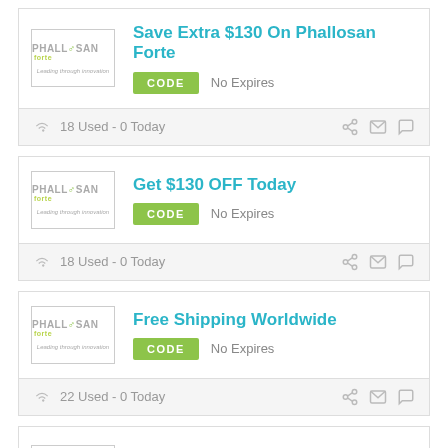[Figure (logo): Phallosan Forte logo - Leading through innovation]
Save Extra $130 On Phallosan Forte
CODE   No Expires
18 Used - 0 Today
[Figure (logo): Phallosan Forte logo - Leading through innovation]
Get $130 OFF Today
CODE   No Expires
18 Used - 0 Today
[Figure (logo): Phallosan Forte logo - Leading through innovation]
Free Shipping Worldwide
CODE   No Expires
22 Used - 0 Today
[Figure (logo): Phallosan Forte logo - Leading through innovation]
100% Money Back Guarantee
CODE   No Expires